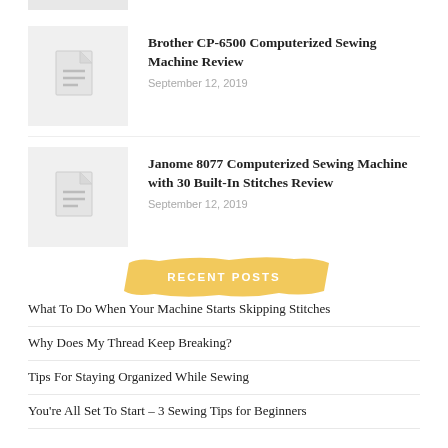[Figure (illustration): Thumbnail placeholder image with document icon for Brother CP-6500 post]
Brother CP-6500 Computerized Sewing Machine Review
September 12, 2019
[Figure (illustration): Thumbnail placeholder image with document icon for Janome 8077 post]
Janome 8077 Computerized Sewing Machine with 30 Built-In Stitches Review
September 12, 2019
RECENT POSTS
What To Do When Your Machine Starts Skipping Stitches
Why Does My Thread Keep Breaking?
Tips For Staying Organized While Sewing
You're All Set To Start – 3 Sewing Tips for Beginners